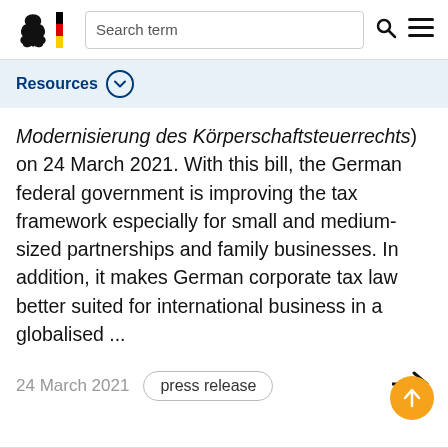Search term
Resources
Modernisierung des Körperschaftsteuerrechts) on 24 March 2021. With this bill, the German federal government is improving the tax framework especially for small and medium-sized partnerships and family businesses. In addition, it makes German corporate tax law better suited for international business in a globalised ...
24 March 2021  press release